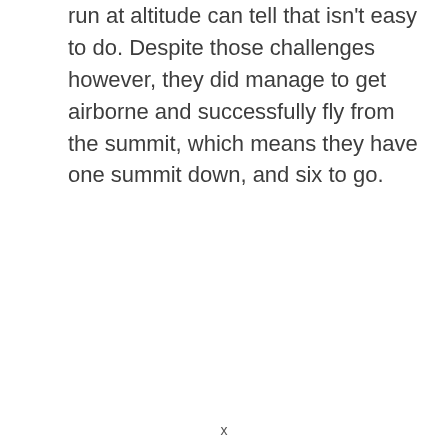run at altitude can tell that isn't easy to do. Despite those challenges however, they did manage to get airborne and successfully fly from the summit, which means they have one summit down, and six to go.
x